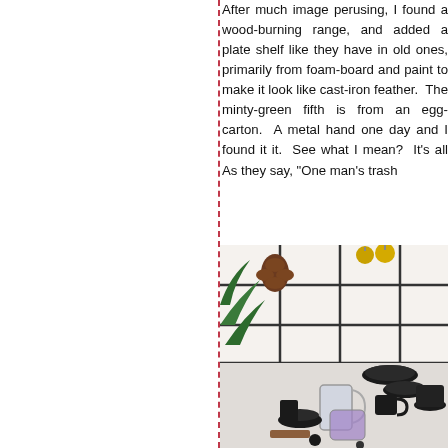After much image perusing, I found a wood-burning range, and added a plate shelf like they have in old ones, primarily from foam-board and paint to make it look like cast-iron feather. The minty-green fifth is from an egg-carton. A metal hand one day and I found it it. See what I mean? It's all As they say, "One man's trash
[Figure (photo): Photo of a kitchen counter with white tile backsplash showing black dishes, cups, a clear pitcher, and holiday decorations including pine cones and gold ornaments.]